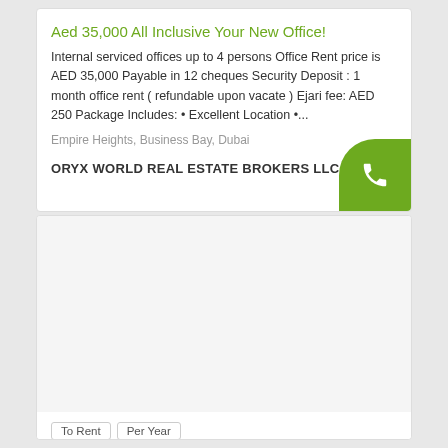Aed 35,000 All Inclusive Your New Office!
Internal serviced offices up to 4 persons Office Rent price is AED 35,000 Payable in 12 cheques Security Deposit : 1 month office rent ( refundable upon vacate ) Ejari fee: AED 250 Package Includes: • Excellent Location •...
Empire Heights, Business Bay, Dubai
ORYX WORLD REAL ESTATE BROKERS LLC
[Figure (photo): Property listing image placeholder (light gray)]
To Rent  Per Year
AED 250,000
Office   3,175 (Sq Ft)